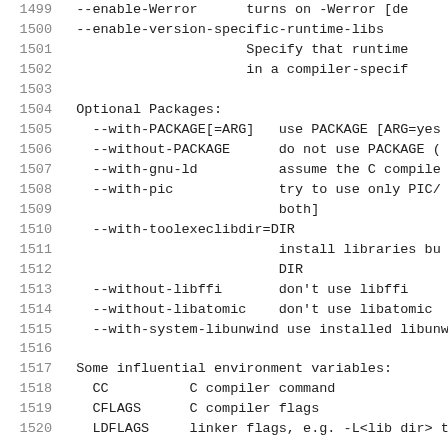1499  --enable-Werror      turns on -Werror [de
1500  --enable-version-specific-runtime-libs
1501                        Specify that runtime
1502                        in a compiler-specif
1503
1504  Optional Packages:
1505    --with-PACKAGE[=ARG]   use PACKAGE [ARG=yes
1506    --without-PACKAGE       do not use PACKAGE (
1507    --with-gnu-ld           assume the C compile
1508    --with-pic              try to use only PIC/
1509                            both]
1510    --with-toolexeclibdir=DIR
1511                            install libraries bu
1512                            DIR
1513    --without-libffi        don't use libffi
1514    --without-libatomic     don't use libatomic
1515    --with-system-libunwind use installed libunw
1516
1517  Some influential environment variables:
1518    CC          C compiler command
1519    CFLAGS      C compiler flags
1520    LDFLAGS     linker flags, e.g. -L<lib dir> t